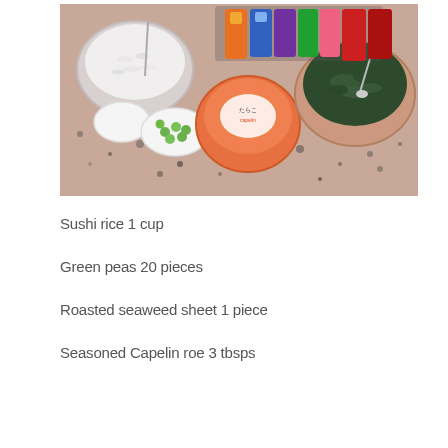[Figure (photo): A granite countertop with various sushi ingredients: a bowl of sushi rice with a fork, two small white heart-shaped dishes with green peas, a round container of seasoned capelin roe, a large bowl of seaweed salad with a spoon, and several colorful seasoning/flavoring packets in the background.]
Sushi rice 1 cup
Green peas 20 pieces
Roasted seaweed sheet 1 piece
Seasoned Capelin roe 3 tbsps